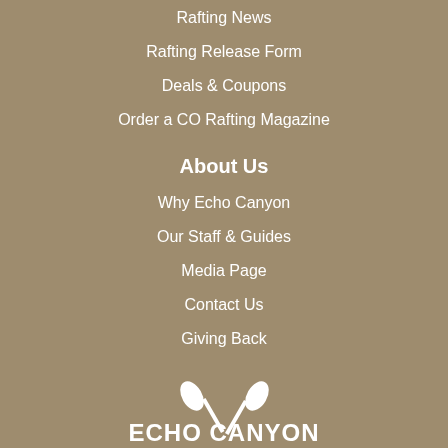Rafting News
Rafting Release Form
Deals & Coupons
Order a CO Rafting Magazine
About Us
Why Echo Canyon
Our Staff & Guides
Media Page
Contact Us
Giving Back
[Figure (logo): Echo Canyon River Expeditions logo with paddle graphic]
45000 W US Highway 50